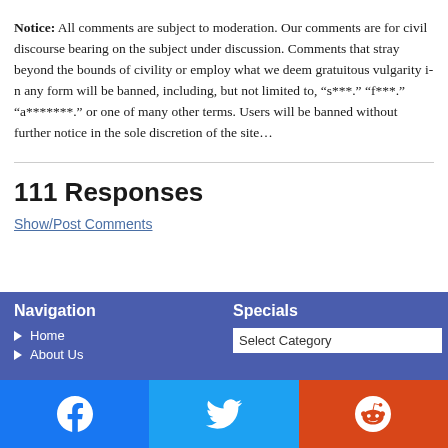Notice: All comments are subject to moderation. Our comments are for civil discourse bearing on the subject under discussion. Comments that stray beyond the bounds of civility or employ what we deem gratuitous vulgarity in any form will be banned, including, but not limited to, "s***," "f***," "a*******," or one of many other terms. Users will be banned without further notice in the sole discretion of the site moderator.
111 Responses
Show/Post Comments
Navigation
Home
About Us
Specials
Select Category